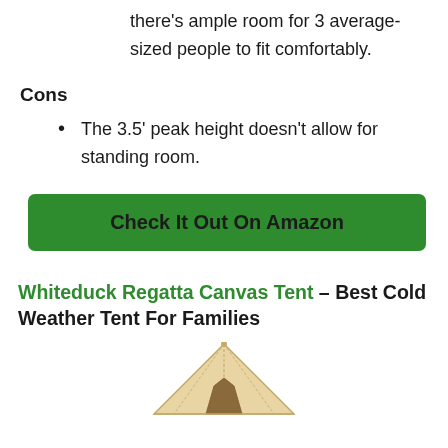there's ample room for 3 average-sized people to fit comfortably.
Cons
The 3.5' peak height doesn't allow for standing room.
[Figure (other): Green button: Check It Out On Amazon]
Whiteduck Regatta Canvas Tent – Best Cold Weather Tent For Families
[Figure (illustration): Top of a canvas bell tent, cream/tan colored]